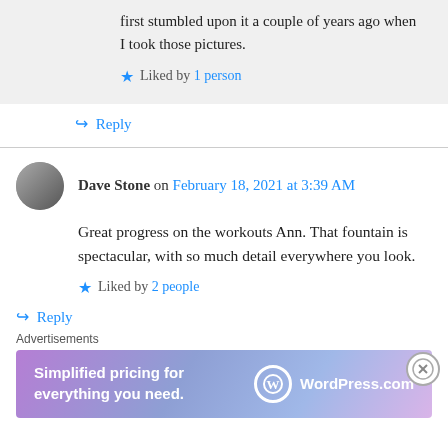first stumbled upon it a couple of years ago when I took those pictures.
Liked by 1 person
↪ Reply
Dave Stone on February 18, 2021 at 3:39 AM
Great progress on the workouts Ann. That fountain is spectacular, with so much detail everywhere you look.
Liked by 2 people
↪ Reply
Advertisements
[Figure (other): WordPress.com advertisement banner: 'Simplified pricing for everything you need.' with WordPress.com logo]